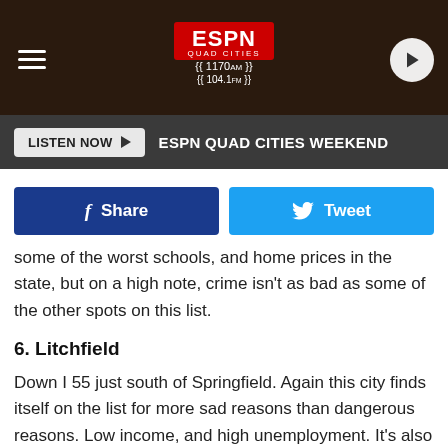[Figure (screenshot): ESPN Quad Cities radio station header with logo showing 1170AM and 104.1FM, hamburger menu icon on left, play button on right, dark brown background]
LISTEN NOW ▶  ESPN QUAD CITIES WEEKEND
[Figure (infographic): Social sharing buttons: blue Facebook Share button and cyan Twitter Tweet button]
some of the worst schools, and home prices in the state, but on a high note, crime isn't as bad as some of the other spots on this list.
6. Litchfield
Down I 55 just south of Springfield. Again this city finds itself on the list for more sad reasons than dangerous reasons. Low income, and high unemployment. It's also considered very boring.
5. Cairo